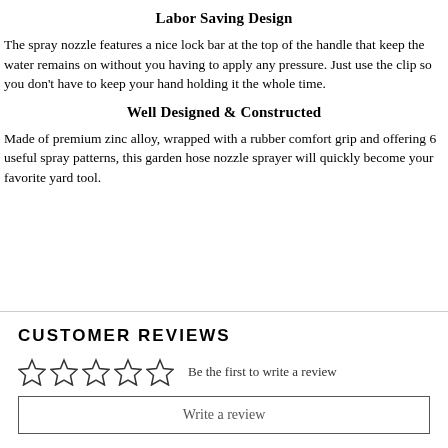Labor Saving Design
The spray nozzle features a nice lock bar at the top of the handle that keep the water remains on without you having to apply any pressure. Just use the clip so you don't have to keep your hand holding it the whole time.
Well Designed & Constructed
Made of premium zinc alloy, wrapped with a rubber comfort grip and offering 6 useful spray patterns, this garden hose nozzle sprayer will quickly become your favorite yard tool.
CUSTOMER REVIEWS
☆☆☆☆☆ Be the first to write a review
Write a review